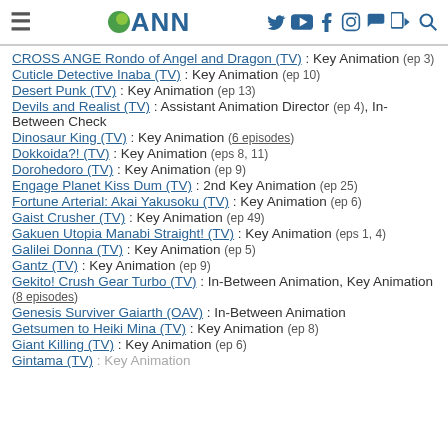ANN
CROSS ANGE Rondo of Angel and Dragon (TV) : Key Animation (ep 3)
Cuticle Detective Inaba (TV) : Key Animation (ep 10)
Desert Punk (TV) : Key Animation (ep 13)
Devils and Realist (TV) : Assistant Animation Director (ep 4), In-Between Check
Dinosaur King (TV) : Key Animation (6 episodes)
Dokkoida?! (TV) : Key Animation (eps 8, 11)
Dorohedoro (TV) : Key Animation (ep 9)
Engage Planet Kiss Dum (TV) : 2nd Key Animation (ep 25)
Fortune Arterial: Akai Yakusoku (TV) : Key Animation (ep 6)
Gaist Crusher (TV) : Key Animation (ep 49)
Gakuen Utopia Manabi Straight! (TV) : Key Animation (eps 1, 4)
Galilei Donna (TV) : Key Animation (ep 5)
Gantz (TV) : Key Animation (ep 9)
Gekito! Crush Gear Turbo (TV) : In-Between Animation, Key Animation (8 episodes)
Genesis Surviver Gaiarth (OAV) : In-Between Animation
Getsumen to Heiki Mina (TV) : Key Animation (ep 8)
Giant Killing (TV) : Key Animation (ep 6)
Gintama (TV) : Key Animation